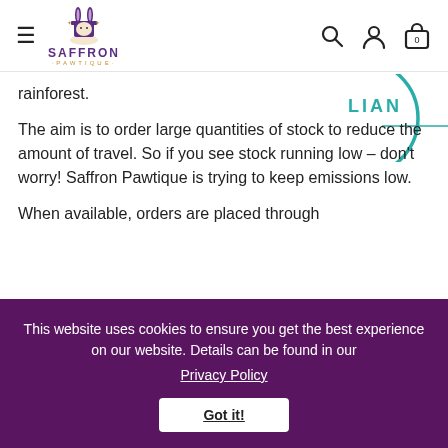[Figure (logo): Saffron Pawtique logo with top-hat rabbit illustration and brand name]
rainforest.
[Figure (other): Partial circular green certification/badge stamp, partially visible on right side]
The aim is to order large quantities of stock to reduce the amount of travel. So if you see stock running low – don't worry! Saffron Pawtique is trying to keep emissions low.
When available, orders are placed through...
This website uses cookies to ensure you get the best experience on our website. Details can be found in our
Privacy Policy
Got it!